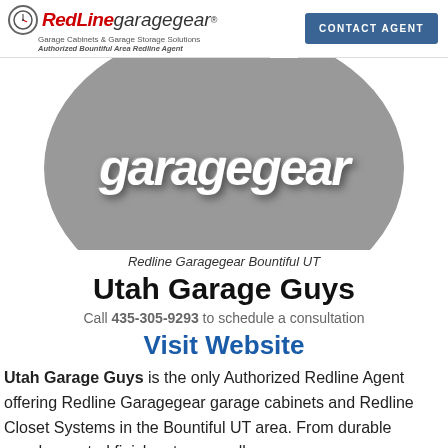[Figure (logo): RedLine Garagegear logo with clock icon, tagline: Garage Cabinets & Garage Storage Solutions, Authorized Bountiful Area Redline Agent]
CONTACT AGENT
[Figure (logo): Large circular gray logo with 'garagegear' text in white italic bold font]
Redline Garagegear Bountiful UT
Utah Garage Guys
Call 435-305-9293 to schedule a consultation
Visit Website
Utah Garage Guys is the only Authorized Redline Agent offering Redline Garagegear garage cabinets and Redline Closet Systems in the Bountiful UT area. From durable powder-coated finishes to our wall-